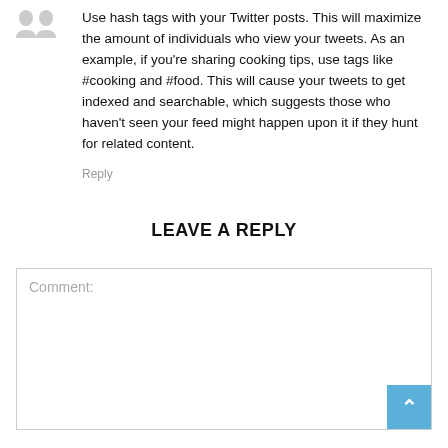[Figure (illustration): Two small avatar/silhouette icons side by side representing a user]
Use hash tags with your Twitter posts. This will maximize the amount of individuals who view your tweets. As an example, if you're sharing cooking tips, use tags like #cooking and #food. This will cause your tweets to get indexed and searchable, which suggests those who haven't seen your feed might happen upon it if they hunt for related content.
Reply
LEAVE A REPLY
Comment: